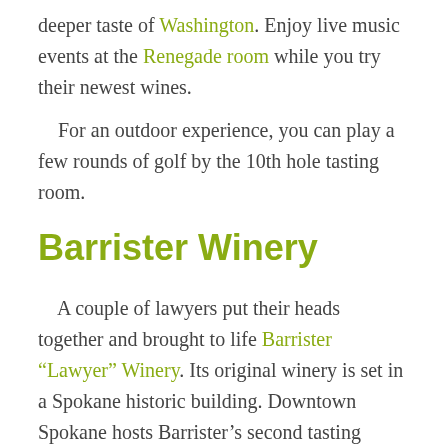deeper taste of Washington. Enjoy live music events at the Renegade room while you try their newest wines.
For an outdoor experience, you can play a few rounds of golf by the 10th hole tasting room.
Barrister Winery
A couple of lawyers put their heads together and brought to life Barrister “Lawyer” Winery. Its original winery is set in a Spokane historic building. Downtown Spokane hosts Barrister’s second tasting room, surrounded by a multitude of things to do.
Barrister winery hosts an art gallery where guests can enjoy the work of local artists. This includes northwest